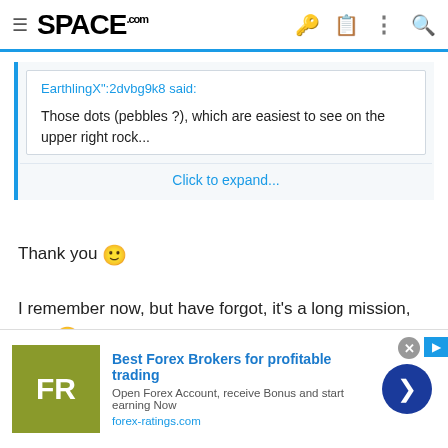SPACE.com
EarthlingX":2dvbg9k8 said:

Those dots (pebbles ?), which are easiest to see on the upper right rock...
Click to expand...
Thank you 🙂
I remember now, but have forgot, it's a long mission, very 😮
Hematite
[Figure (screenshot): Advertisement banner: Best Forex Brokers for profitable trading. Open Forex Account, receive Bonus and start earning Now. forex-ratings.com. FR logo in olive/green square, blue circle with arrow button.]